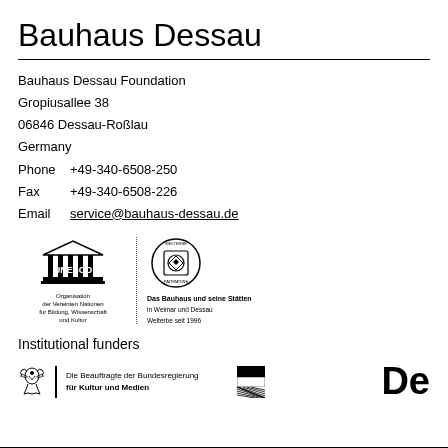Bauhaus Dessau
Bauhaus Dessau Foundation
Gropiusallee 38
06846 Dessau-Roßlau
Germany
Phone   +49-340-6508-250
Fax       +49-340-6508-226
Email    service@bauhaus-dessau.de
[Figure (logo): UNESCO logo with German text and Welterbe/World Heritage badge for Bauhaus Dessau]
Institutional funders
[Figure (logo): Die Beauftragte der Bundesregierung für Kultur und Medien logo with eagle emblem, and partial Saxony-Anhalt state logo with 'De' text]